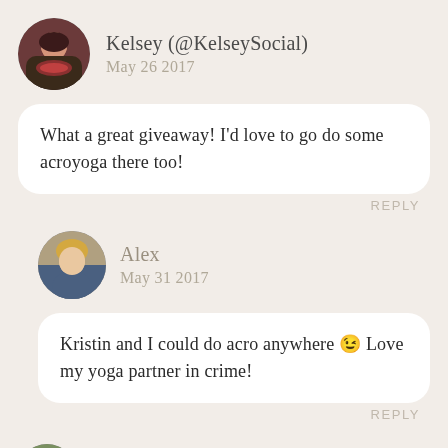Kelsey (@KelseySocial)
May 26 2017
What a great giveaway! I’d love to go do some acroyoga there too!
REPLY
Alex
May 31 2017
Kristin and I could do acro anywhere 😉 Love my yoga partner in crime!
REPLY
Jenna